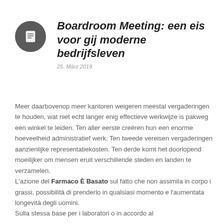[Figure (illustration): Dark grey circle icon with a document/page symbol (lines) inside]
Boardroom Meeting: een eis voor gij moderne bedrijfsleven
25. März 2019
Meer daarbovenop meer kantoren weigeren meestal vergaderingen te houden, wat niet echt langer enig effectieve werkwijze is pakweg een winkel te leiden. Ten aller eerste creëren hun een enorme hoeveelheid administratief werk. Ten tweede vereisen vergaderingen aanzienlijke representatiekosten. Ten derde komt het doorlopend moeilijker om mensen eruit verschillende steden en landen te verzamelen.
L'azione del Farmaco È Basato sul fatto che non assimila in corpo i grassi, possibilità di prenderlo in qualsiasi momento e l'aumentata longevità degli uomini.
Sulla stessa base per i laboratori o in accordo al